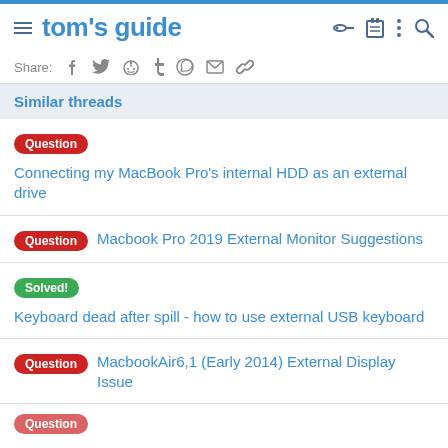tom's guide
Share:
Similar threads
Question  Connecting my MacBook Pro's internal HDD as an external drive
Question  Macbook Pro 2019 External Monitor Suggestions
Solved!  Keyboard dead after spill - how to use external USB keyboard
Question  MacbookAir6,1 (Early 2014) External Display Issue